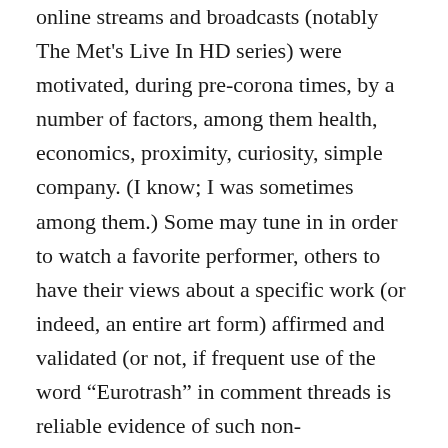online streams and broadcasts (notably The Met's Live In HD series) were motivated, during pre-corona times, by a number of factors, among them health, economics, proximity, curiosity, simple company. (I know; I was sometimes among them.) Some may tune in in order to watch a favorite performer, others to have their views about a specific work (or indeed, an entire art form) affirmed and validated (or not, if frequent use of the word “Eurotrash” in comment threads is reliable evidence of such non-affirmations). Lately I suspect the desire (or “addiction” to use Sontag’s not-wrong phrase) to watch is linked to the desire to partake in a ritualized form of socio-musical nostalgia. The “remember when”ism of the live experience, always an extant factor within digital culture, has been magnified one-